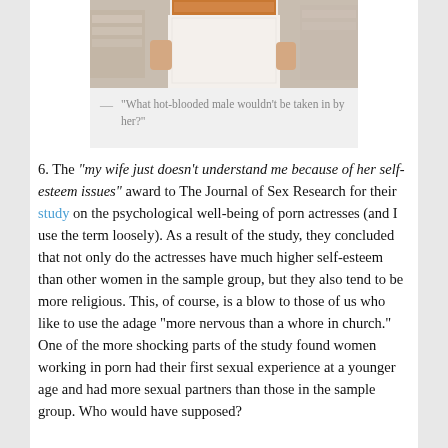[Figure (photo): Partial photo of a woman in a white lace dress with an orange belt/sash, cropped to show torso/lower body area, taken in what appears to be a store. Below the photo is a grey quote area with a dash and the text: “What hot-blooded male wouldn’t be taken in by her?”]
6. The “my wife just doesn’t understand me because of her self-esteem issues” award to The Journal of Sex Research for their study on the psychological well-being of porn actresses (and I use the term loosely). As a result of the study, they concluded that not only do the actresses have much higher self-esteem than other women in the sample group, but they also tend to be more religious. This, of course, is a blow to those of us who like to use the adage “more nervous than a whore in church.” One of the more shocking parts of the study found women working in porn had their first sexual experience at a younger age and had more sexual partners than those in the sample group. Who would have supposed?